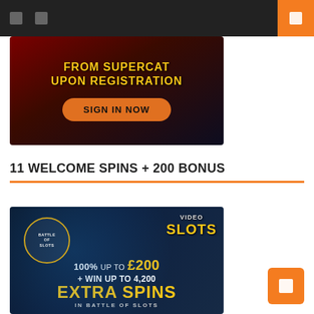Navigation bar with icons and search
[Figure (illustration): Casino promotional banner with dark red/night city background, yellow text 'FROM SUPERCAT UPON REGISTRATION' and orange 'SIGN IN NOW' button]
11 WELCOME SPINS + 200 BONUS
[Figure (illustration): VideoSlots casino banner with dark blue background, 'BATTLE OF SLOTS' badge on left, VideoSlots logo top right, text: 100% UP TO £200 + WIN UP TO 4,200 EXTRA SPINS IN BATTLE OF SLOTS]